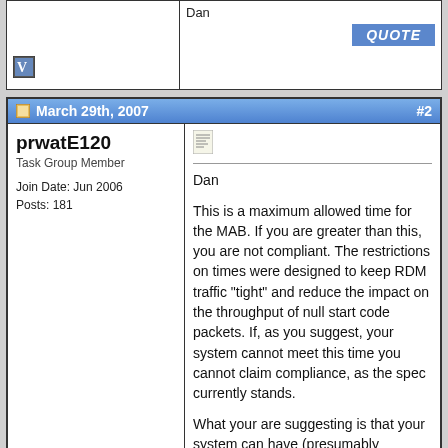Dan
March 29th, 2007  #2
prwatE120
Task Group Member

Join Date: Jun 2006
Posts: 181
Dan

This is a maximum allowed time for the MAB. If you are greater than this, you are not compliant. The restrictions on times were designed to keep RDM traffic "tight" and reduce the impact on the throughput of null start code packets. If, as you suggest, your system cannot meet this time you cannot claim compliance, as the spec currently stands.

What your are suggesting is that your system can have (presumably intermittently) up to 88us of intercharcter delay ... which seems unusually high. A necessary